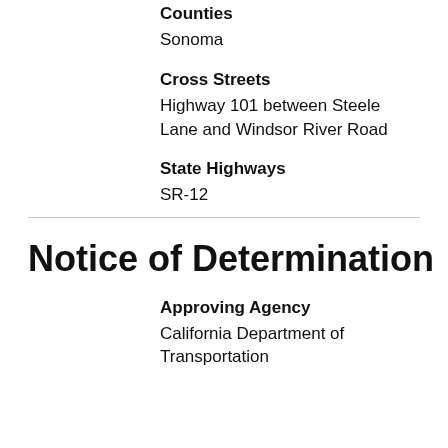Counties
Sonoma
Cross Streets
Highway 101 between Steele Lane and Windsor River Road
State Highways
SR-12
Notice of Determination
Approving Agency
California Department of Transportation